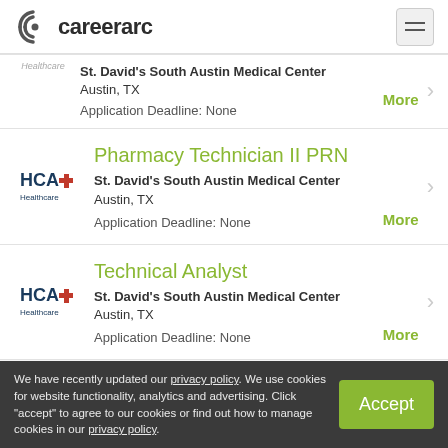careerarc
St. David's South Austin Medical Center Austin, TX Application Deadline: None
Pharmacy Technician II PRN — St. David's South Austin Medical Center Austin, TX Application Deadline: None
Technical Analyst — St. David's South Austin Medical Center Austin, TX Application Deadline: None
We have recently updated our privacy policy. We use cookies for website functionality, analytics and advertising. Click "accept" to agree to our cookies or find out how to manage cookies in our privacy policy.